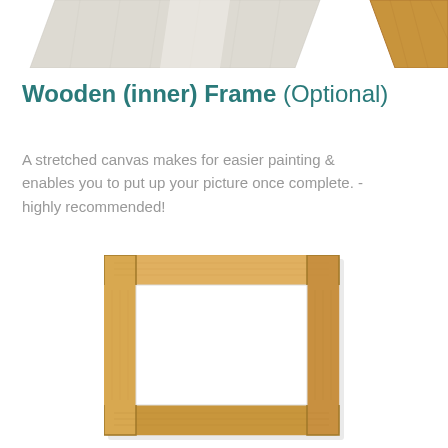[Figure (photo): Partial view of a stretched canvas corner (grey/white textile) on the left and a wooden frame corner (brown/tan wood) on the upper right, cropped at the top of the page.]
Wooden (inner) Frame (Optional)
A stretched canvas makes for easier painting & enables you to put up your picture once complete. - highly recommended!
[Figure (photo): A rectangular wooden inner frame (stretcher bars) made of light natural pine/birch wood, photographed against a white background. The frame is empty in the center showing a white opening.]